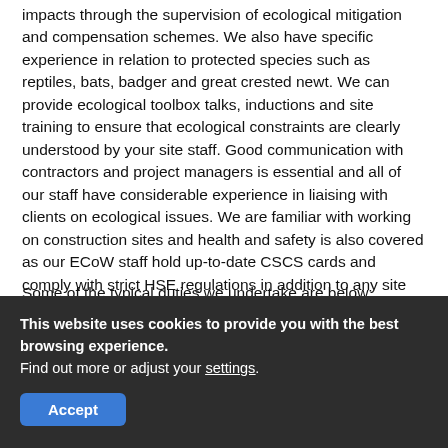impacts through the supervision of ecological mitigation and compensation schemes. We also have specific experience in relation to protected species such as reptiles, bats, badger and great crested newt. We can provide ecological toolbox talks, inductions and site training to ensure that ecological constraints are clearly understood by your site staff. Good communication with contractors and project managers is essential and all of our staff have considerable experience in liaising with clients on ecological issues. We are familiar with working on construction sites and health and safety is also covered as our ECoW staff hold up-to-date CSCS cards and comply with strict HSE regulations in addition to any site rules.
Some of the typical duties we undertake are below:
This website uses cookies to provide you with the best browsing experience. Find out more or adjust your settings.